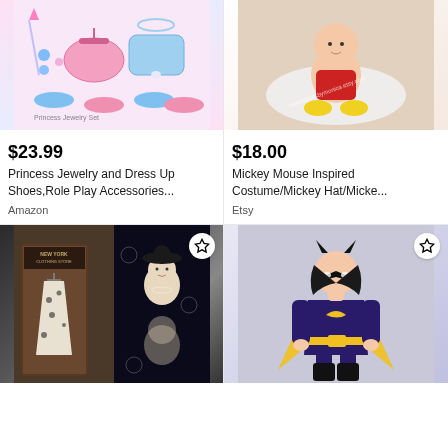[Figure (photo): Princess jewelry and dress up shoes product image showing pink and blue purses, shoes, jewelry items on white background]
$23.99
Princess Jewelry and Dress Up Shoes,Role Play Accessories...
Amazon
[Figure (photo): Baby wearing red knit romper with yellow shoes lying on white fur, Mickey Mouse inspired costume from Etsy (sweetcraftsbymonica.etsy.com)]
$18.00
Mickey Mouse Inspired Costume/Mickey Hat/Micke...
Etsy
[Figure (photo): Vintage floral dress hanging in New York Clothing Store doorway next to art deco fabric print with woman in hat]
[Figure (photo): Girl wearing Batgirl costume in purple and yellow with cape and mask, superhero Halloween costume]